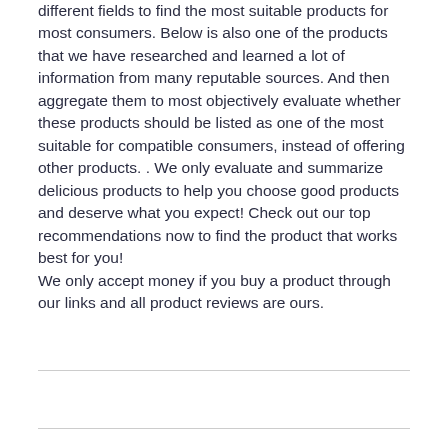different fields to find the most suitable products for most consumers. Below is also one of the products that we have researched and learned a lot of information from many reputable sources. And then aggregate them to most objectively evaluate whether these products should be listed as one of the most suitable for compatible consumers, instead of offering other products. . We only evaluate and summarize delicious products to help you choose good products and deserve what you expect! Check out our top recommendations now to find the product that works best for you!
We only accept money if you buy a product through our links and all product reviews are ours.